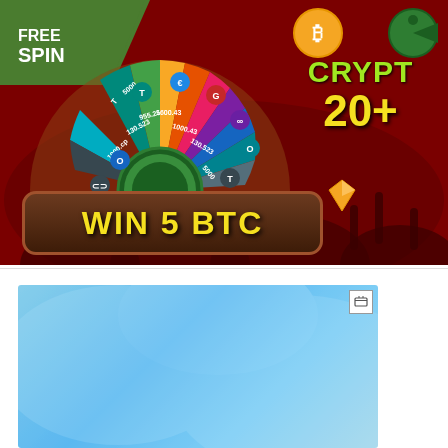[Figure (illustration): Casino spin wheel banner advertisement showing a colorful prize wheel with cryptocurrency amounts (5000, 1000.43, 1600.43, 955.25, 130.523, 1000.43, 130.523, 5000 visible on wheel segments), crypto coin icons on each segment, a golden Bitcoin coin floating above, a gem stone below right, silhouetted crowd in background, green corner banner with 'FREE SPIN' text, dark red background, text on right side reading 'CRYPT' and '20+', and a brown badge at bottom reading 'WIN 5 BTC' in yellow text.]
[Figure (illustration): Light blue advertisement placeholder block with subtle diagonal pattern overlay and a small icon in top right corner.]